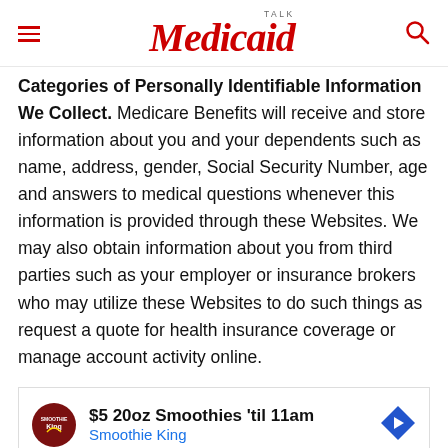Medicaid TALK
Categories of Personally Identifiable Information We Collect. Medicare Benefits will receive and store information about you and your dependents such as name, address, gender, Social Security Number, age and answers to medical questions whenever this information is provided through these Websites. We may also obtain information about you from third parties such as your employer or insurance brokers who may utilize these Websites to do such things as request a quote for health insurance coverage or manage account activity online.
[Figure (other): Advertisement banner for Smoothie King: '$5 20oz Smoothies til 11am' with Smoothie King logo and navigation arrow icon]